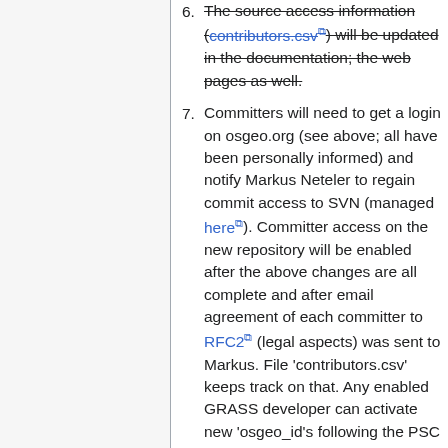6. The source access information (contributors.csv) will be updated in the documentation; the web pages as well.
7. Committers will need to get a login on osgeo.org (see above; all have been personally informed) and notify Markus Neteler to regain commit access to SVN (managed here). Committer access on the new repository will be enabled after the above changes are all complete and after email agreement of each committer to RFC2 (legal aspects) was sent to Markus. File 'contributors.csv' keeps track on that. Any enabled GRASS developer can activate new 'osgeo_id's following the PSC